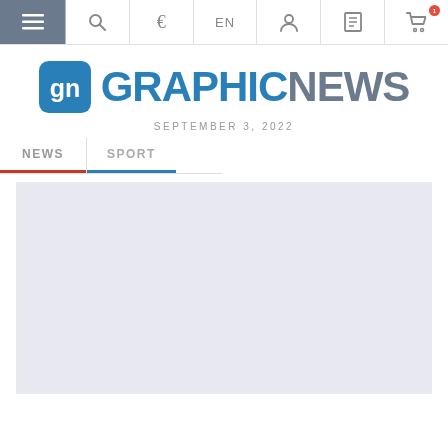Navigation bar with hamburger menu, search, euro sign, EN language selector, user icon, document icon, and cart icon
[Figure (logo): GraphicNews logo with 'gn' icon and text GRAPHICNEWS in blue and grey]
SEPTEMBER 3, 2022
NEWS  SPORT
[Figure (other): Light grey content area placeholder]